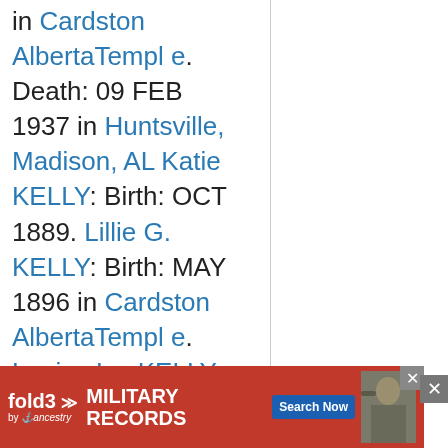in Cardston AlbertaTemple. Death: 09 FEB 1937 in Huntsville, Madison, AL Katie KELLY: Birth: OCT 1889. Lillie G. KELLY: Birth: MAY 1896 in Cardston AlbertaTemple. Louise Iva KELLY: Birth: 28 APR 1... Death: 3... 2002 in...
[Figure (infographic): fold3 by Ancestry advertisement banner for Military Records with Search Now button and soldier image]